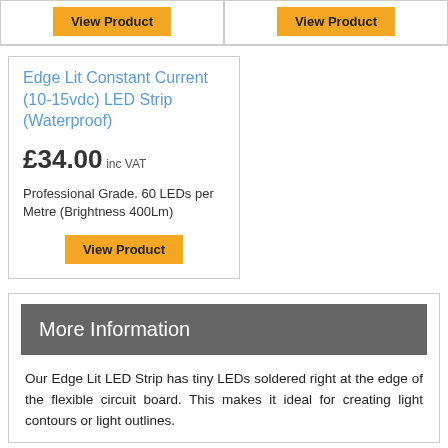View Product
View Product
Edge Lit Constant Current (10-15vdc) LED Strip (Waterproof)
£34.00 inc VAT
Professional Grade. 60 LEDs per Metre (Brightness 400Lm)
View Product
More Information
Our Edge Lit LED Strip has tiny LEDs soldered right at the edge of the flexible circuit board. This makes it ideal for creating light contours or light outlines.